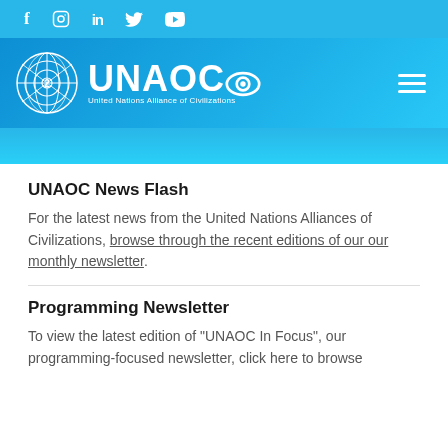f  instagram  in  twitter  youtube
[Figure (logo): UNAOC United Nations Alliance of Civilizations logo with UN emblem]
UNAOC News Flash
For the latest news from the United Nations Alliances of Civilizations, browse through the recent editions of our our monthly newsletter.
Programming Newsletter
To view the latest edition of "UNAOC In Focus", our programming-focused newsletter, click here to browse